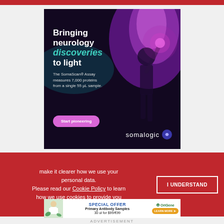[Figure (advertisement): SomaLogic advertisement with dark background featuring a figure holding up a glowing purple/magenta light. Text reads: 'Bringing neurology discoveries to light. The SomaScan® Assay measures 7,000 proteins from a single 55 µL sample.' Button: 'Start pioneering'. SomaLogic logo bottom right.]
make it clearer how we use your personal data.
Please read our Cookie Policy to learn how we use cookies to provide you
[Figure (advertisement): OriGene special offer advertisement. Text: 'SPECIAL OFFER Primary Antibody Samples 30 ul for $99/€99' with a LEARN MORE button and OriGene logo.]
ADVERTISEMENT